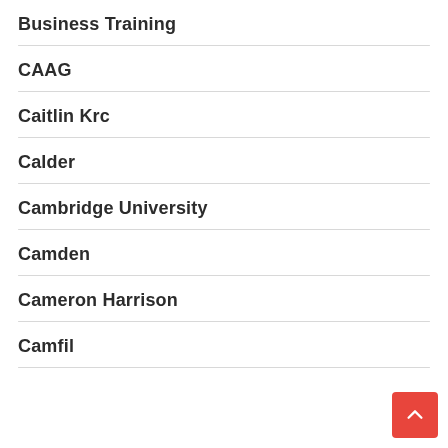Business Training
CAAG
Caitlin Krc
Calder
Cambridge University
Camden
Cameron Harrison
Camfil